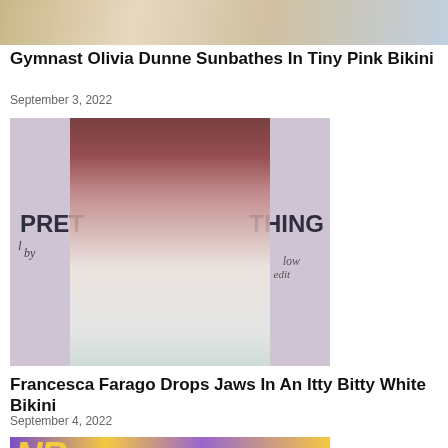[Figure (photo): Cropped top portion of a photo showing people, cut off at top of page]
Gymnast Olivia Dunne Sunbathes In Tiny Pink Bikini
September 3, 2022
[Figure (photo): Woman with long dark reddish-brown hair wearing a white halter dress, standing in front of a PrettyLittleThing branded backdrop]
Francesca Farago Drops Jaws In An Itty Bitty White Bikini
September 4, 2022
[Figure (photo): Partial photo showing NBA branded backdrop in purple and gold with a blonde woman visible]